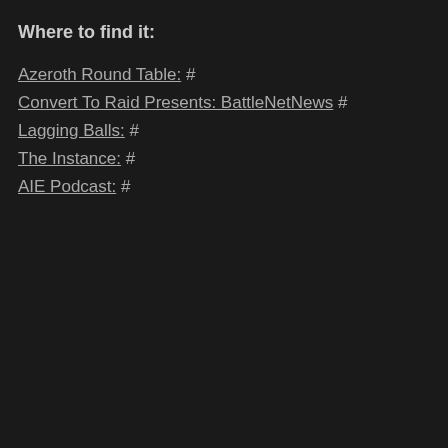Where to find it:
Azeroth Round Table: #
Convert To Raid Presents: BattleNetNews #
Lagging Balls: #
The Instance: #
AIE Podcast: #
Posted by altitisadmin on 2017-05-23
Altitis Episode 22: Legion Assaults Grind
Posted in: Uncategorized. Leave a Comment
[transcript]
Greetings Gamers. This is Mewkow, your guide in treating a comm